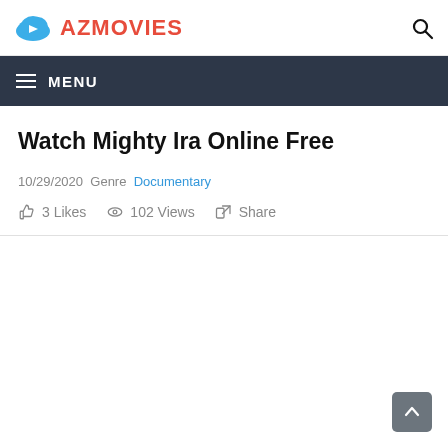AZMOVIES
Watch Mighty Ira Online Free
10/29/2020 Genre Documentary
3 Likes   102 Views   Share